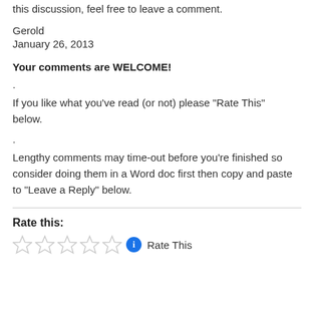this discussion, feel free to leave a comment.
Gerold
January 26, 2013
Your comments are WELCOME!
.
If you like what you’ve read (or not) please “Rate This” below.
.
Lengthy comments may time-out before you’re finished so consider doing them in a Word doc first then copy and paste to “Leave a Reply” below.
Rate this:
[Figure (other): Five empty star rating icons followed by an info icon and 'Rate This' text]